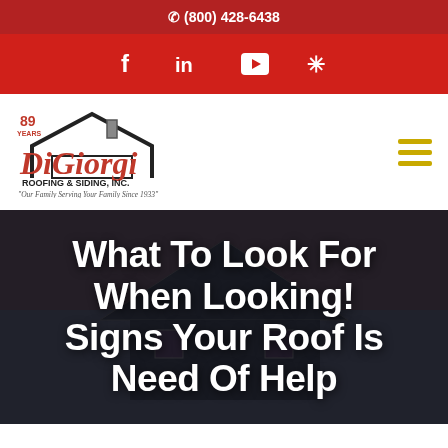(800) 428-6438
[Figure (logo): Social media icons bar: Facebook, LinkedIn, YouTube, Yelp on red background]
[Figure (logo): DiGiorgi Roofing & Siding, Inc. logo with house icon, 89 years badge, tagline 'Our Family Serving Your Family Since 1933']
What To Look For When Looking! Signs Your Roof Is Need Of Help